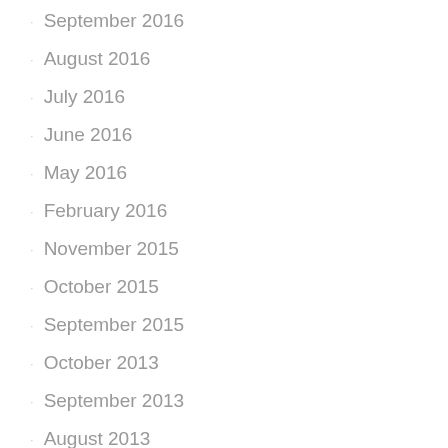September 2016
August 2016
July 2016
June 2016
May 2016
February 2016
November 2015
October 2015
September 2015
October 2013
September 2013
August 2013